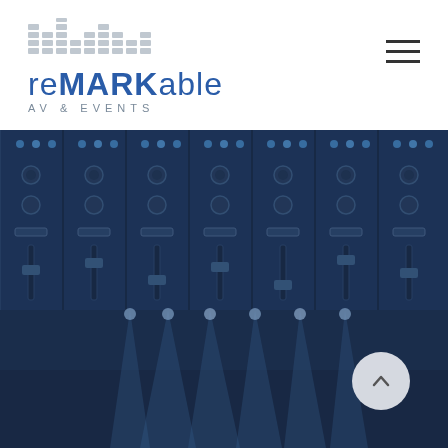[Figure (logo): reMARKable AV & Events logo with equalizer bar icon above text. 're' and 'MARK' in blue bold, 'able' in blue light weight, 'AV & EVENTS' in spaced grey caps below.]
[Figure (photo): Full-width blue-tinted photo of an audio mixing console / event lighting rig, showing multiple faders, knobs, buttons, and stage spotlights emanating from the bottom of the frame.]